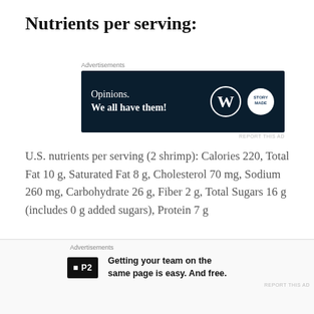Nutrients per serving:
[Figure (other): Advertisement banner with dark navy background reading 'Opinions. We all have them!' with WordPress and StoryMade logos]
U.S. nutrients per serving (2 shrimp): Calories 220, Total Fat 10 g, Saturated Fat 8 g, Cholesterol 70 mg, Sodium 260 mg, Carbohydrate 26 g, Fiber 2 g, Total Sugars 16 g (includes 0 g added sugars), Protein 7 g
STROMBOLI
[Figure (other): Advertisement for P2 with text: Getting your team on the same page is easy. And free.]